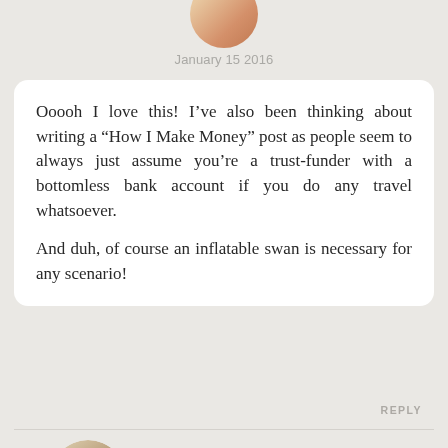[Figure (photo): Partial avatar/profile photo of a person with blonde hair, cropped at top of page]
January 15 2016
Ooooh I love this! I’ve also been thinking about writing a “How I Make Money” post as people seem to always just assume you’re a trust-funder with a bottomless bank account if you do any travel whatsoever.

And duh, of course an inflatable swan is necessary for any scenario!
REPLY
[Figure (photo): Round profile photo of Alex, a blonde woman]
Alex
January 16 2016
Haha, I do have to admit